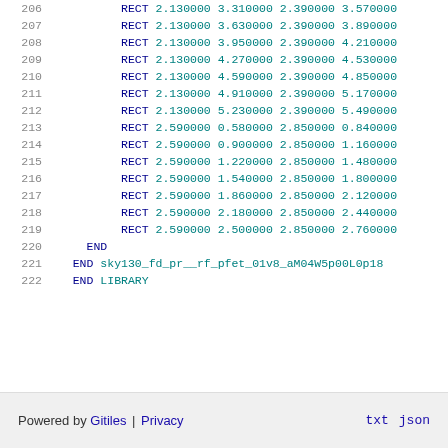206   RECT 2.130000 3.310000 2.390000 3.570000
207   RECT 2.130000 3.630000 2.390000 3.890000
208   RECT 2.130000 3.950000 2.390000 4.210000
209   RECT 2.130000 4.270000 2.390000 4.530000
210   RECT 2.130000 4.590000 2.390000 4.850000
211   RECT 2.130000 4.910000 2.390000 5.170000
212   RECT 2.130000 5.230000 2.390000 5.490000
213   RECT 2.590000 0.580000 2.850000 0.840000
214   RECT 2.590000 0.900000 2.850000 1.160000
215   RECT 2.590000 1.220000 2.850000 1.480000
216   RECT 2.590000 1.540000 2.850000 1.800000
217   RECT 2.590000 1.860000 2.850000 2.120000
218   RECT 2.590000 2.180000 2.850000 2.440000
219   RECT 2.590000 2.500000 2.850000 2.760000
220   END
221 END sky130_fd_pr__rf_pfet_01v8_aM04W5p00L0p18
222 END LIBRARY
Powered by Gitiles | Privacy   txt  json